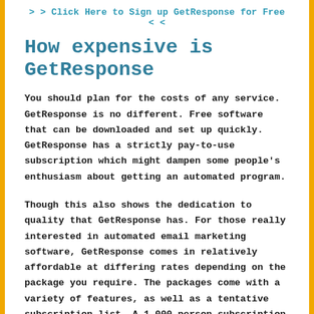> > Click Here to Sign up GetResponse for Free < <
How expensive is GetResponse
You should plan for the costs of any service. GetResponse is no different. Free software that can be downloaded and set up quickly. GetResponse has a strictly pay-to-use subscription which might dampen some people's enthusiasm about getting an automated program.
Though this also shows the dedication to quality that GetResponse has. For those really interested in automated email marketing software, GetResponse comes in relatively affordable at differing rates depending on the package you require. The packages come with a variety of features, as well as a tentative subscription list. A 1,000 person subscription is a good starting point. However, you can increase exponentially to 100,000 subscribers.